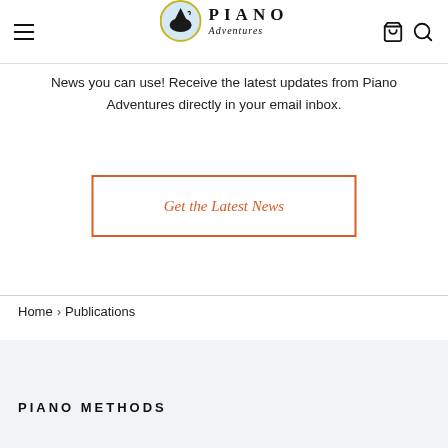Piano Adventures - navigation header with hamburger menu, logo, cart and search icons
News you can use! Receive the latest updates from Piano Adventures directly in your email inbox.
Get the Latest News
Home › Publications
PIANO METHODS